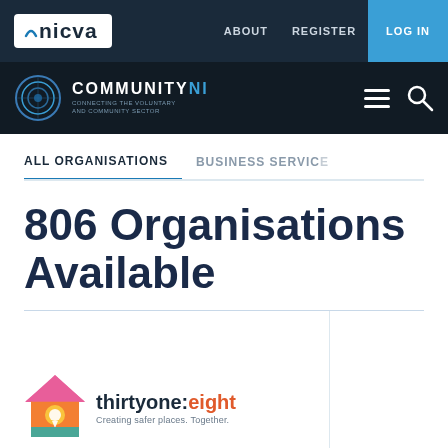[Figure (logo): NICVA logo - white text on dark navy background with blue arc detail]
ABOUT   REGISTER   LOG IN
[Figure (logo): CommunityNI logo - circular icon with white COMMUNITYNI text on dark background, hamburger menu and search icons]
ALL ORGANISATIONS   BUSINESS SERVICES
806 Organisations Available
[Figure (logo): thirtyone:eight logo - colourful house icon with text 'thirtyone:eight Creating safer places. Together.']